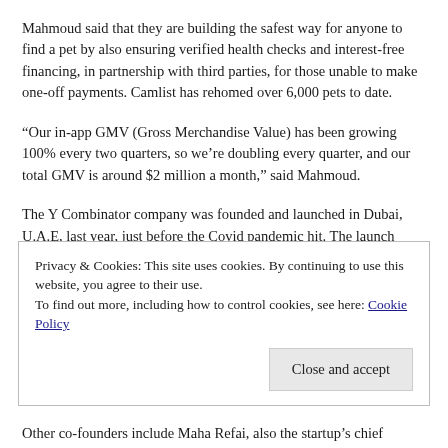Mahmoud said that they are building the safest way for anyone to find a pet by also ensuring verified health checks and interest-free financing, in partnership with third parties, for those unable to make one-off payments. Camlist has rehomed over 6,000 pets to date.
“Our in-app GMV (Gross Merchandise Value) has been growing 100% every two quarters, so we’re doubling every quarter, and our total GMV is around $2 million a month,” said Mahmoud.
The Y Combinator company was founded and launched in Dubai, U.A.E, last year, just before the Covid pandemic hit. The launch turned out to be timely and the site grew popular as people, forced to stay home, bought their own pets — partly to deal with boredom,
Privacy & Cookies: This site uses cookies. By continuing to use this website, you agree to their use.
To find out more, including how to control cookies, see here: Cookie Policy
Other co-founders include Maha Refai, also the startup’s chief